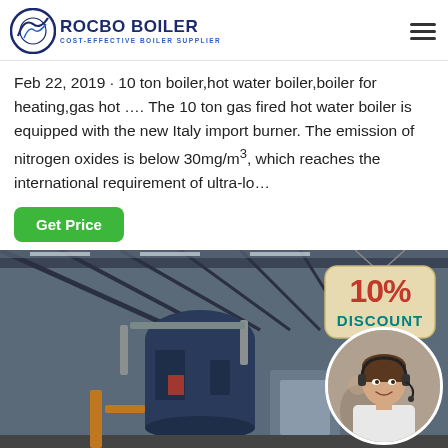[Figure (logo): Rocbo Boiler logo with circular icon and text 'ROCBO BOILER COST-EFFECTIVE BOILER SUPPLIER']
Feb 22, 2019 · 10 ton boiler,hot water boiler,boiler for heating,gas hot …. The 10 ton gas fired hot water boiler is equipped with the new Italy import burner. The emission of nitrogen oxides is below 30mg/m³, which reaches the international requirement of ultra-lo…
[Figure (illustration): Green 'Get Price' button]
[Figure (photo): Industrial boiler equipment inside a warehouse facility with metal roof structure. Overlaid with a 10% DISCOUNT badge (tan/beige sign shape with red '10%' and teal 'DISCOUNT' text) and a circular photo of a smiling female customer support representative wearing a headset.]